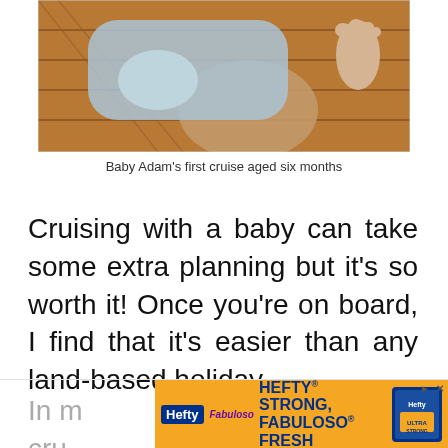[Figure (photo): Close-up photo of a baby lying on a wooden deck surface, showing the baby's bare feet and legs, wearing light blue clothing. Warm sunlight visible on the wood planks.]
Baby Adam’s first cruise aged six months
Cruising with a baby can take some extra planning but it’s so worth it! Once you’re on board, I find that it’s easier than any land-based holiday.
In m cru
[Figure (infographic): Advertisement banner for Hefty and Fabuloso products. Orange background with Hefty logo in blue, Fabuloso logo in purple italic, text reading HEFTY STRONG, FABULOSO FRESH in bold blue letters. Hefty product image on right side.]